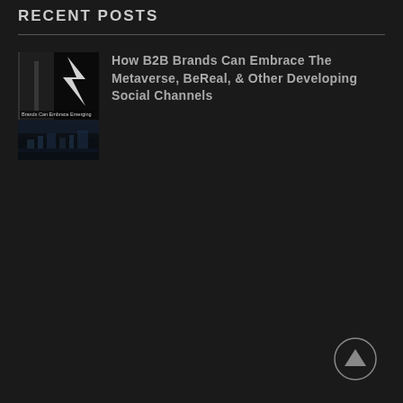RECENT POSTS
[Figure (photo): Two stacked thumbnail images: top image shows a person near a bright window in a dark room with text overlay 'Brands Can Embrace Emerging'; bottom image shows a dark cityscape at night viewed through a window.]
How B2B Brands Can Embrace The Metaverse, BeReal, & Other Developing Social Channels
[Figure (other): A circular scroll-to-top button with an upward-pointing triangle/arrow icon, outlined in gray on dark background.]